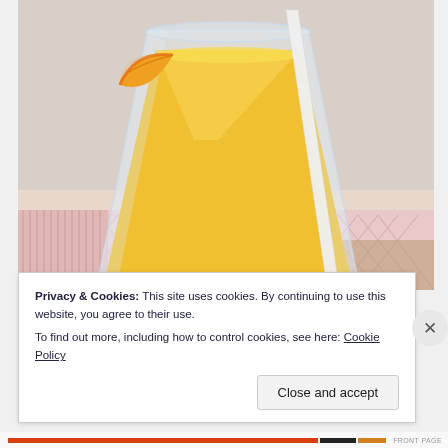[Figure (photo): A tall glass of yellow/orange mango or orange smoothie with a white straw and an orange slice garnish on the rim, sitting on a pink patterned tablecloth or placemat. The background is a light beige/grey.]
Privacy & Cookies: This site uses cookies. By continuing to use this website, you agree to their use.
To find out more, including how to control cookies, see here: Cookie Policy
Close and accept